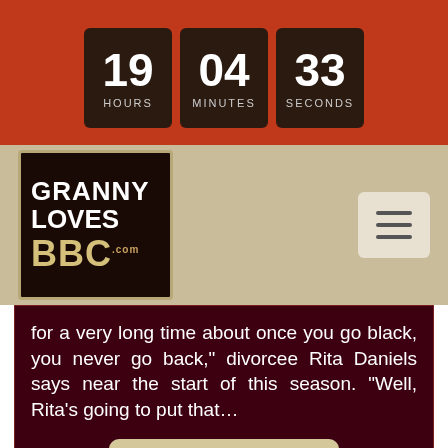[Figure (other): Countdown timer showing 19 hours, 04 minutes, 33 seconds on dark boxes against orange-red background]
[Figure (logo): GrannyLovesBBC.com logo in dark box with tan border]
for a very long time about once you go black, you never go back," divorcee Rita Daniels says near the start of this season. "Well, Rita's going to put that...
Read More
Join Now »